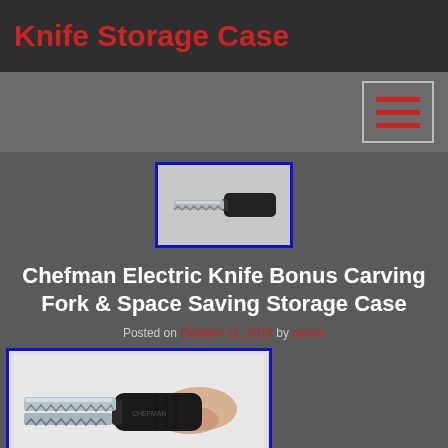Knife Storage Case
[Figure (screenshot): Hamburger/menu icon button with three red horizontal lines on a bordered square]
[Figure (photo): Small thumbnail of an electric knife with a dark handle against white/grey background]
Chefman Electric Knife Bonus Carving Fork & Space Saving Storage Case
Posted on October 11, 2019 by admin
[Figure (photo): Large photo of a Chefman electric knife being held with a black handle, serrated blade visible, with eBay watermark]